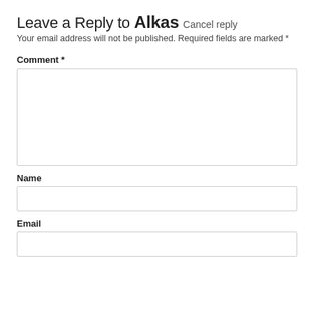Leave a Reply to Alkas Cancel reply
Your email address will not be published. Required fields are marked *
Comment *
Name
Email